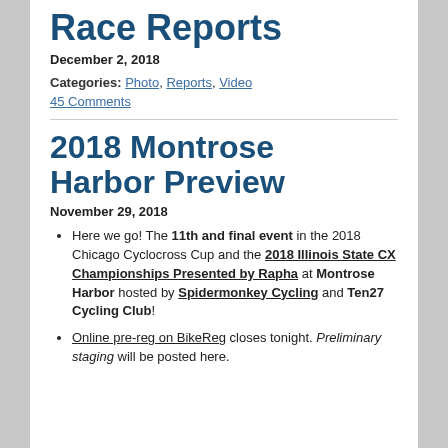Race Reports
December 2, 2018
Categories: Photo, Reports, Video
45 Comments
2018 Montrose Harbor Preview
November 29, 2018
Here we go! The 11th and final event in the 2018 Chicago Cyclocross Cup and the 2018 Illinois State CX Championships Presented by Rapha at Montrose Harbor hosted by Spidermonkey Cycling and Ten27 Cycling Club!
Online pre-reg on BikeReg closes tonight. Preliminary staging will be posted here.